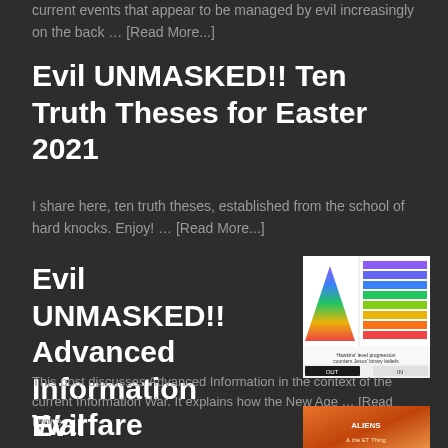current events that appear to be managed by evil increasingly on the back … [Read More...]
Evil UNMASKED!! Ten Truth Theses for Easter 2021
I share here, ten truth theses, established from the school of hard knocks. Enjoy! … [Read More...]
Evil UNMASKED!! Advanced Information Warfare
[Figure (illustration): Thumbnail image showing colorful triangle and rainbow bar charts with text 'Hawkins' level progression counters Jesus' binary beliefs' and buttons labeled OUT and IN]
This post discusses Advanced Information in the context of the current Information War. It explains how the New Age … [Read More...]
Evil UNMASKED!! Aliens & the ET Thing
[Figure (photo): Thumbnail image of a book cover with orange/red tones]